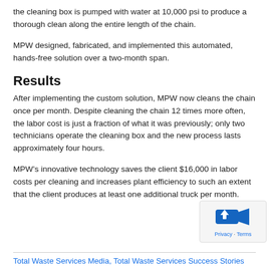the cleaning box is pumped with water at 10,000 psi to produce a thorough clean along the entire length of the chain.
MPW designed, fabricated, and implemented this automated, hands-free solution over a two-month span.
Results
After implementing the custom solution, MPW now cleans the chain once per month. Despite cleaning the chain 12 times more often, the labor cost is just a fraction of what it was previously; only two technicians operate the cleaning box and the new process lasts approximately four hours.
MPW’s innovative technology saves the client $16,000 in labor costs per cleaning and increases plant efficiency to such an extent that the client produces at least one additional truck per month.
Total Waste Services Media, Total Waste Services Success Stories